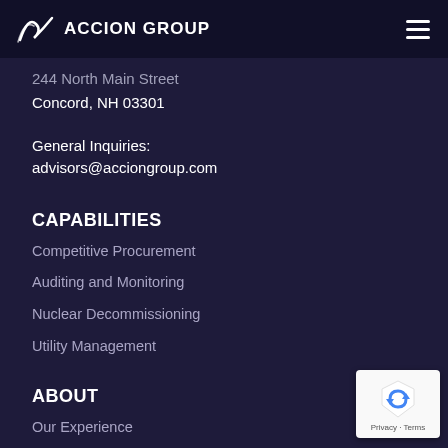ACCION GROUP
244 North Main Street
Concord, NH 03301
General Inquiries:
advisors@acciongroup.com
CAPABILITIES
Competitive Procurement
Auditing and Monitoring
Nuclear Decommissioning
Utility Management
ABOUT
Our Experience
Employees